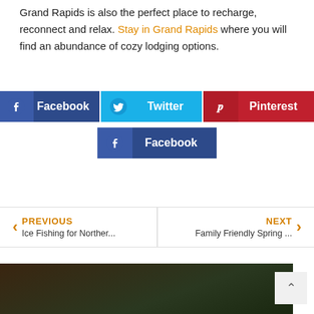Grand Rapids is also the perfect place to recharge, reconnect and relax. Stay in Grand Rapids where you will find an abundance of cozy lodging options.
[Figure (infographic): Social sharing buttons: Facebook (dark blue), Twitter (light blue), Pinterest (red), and a second Facebook button (dark blue) centered below.]
PREVIOUS Ice Fishing for Norther...    NEXT Family Friendly Spring ...
[Figure (photo): Dark forest/nature photo strip at the bottom of the page.]